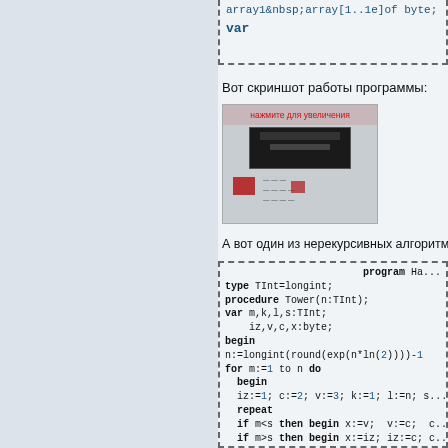[Figure (screenshot): Code snippet top showing array declaration and var keyword in blue monospace font within a dashed border box]
Вот скриншот работы программы:
[Figure (screenshot): Screenshot of a running program showing a dark terminal window with red icons on a gray panel background, labeled 'нажмите для увеличения']
А вот один из нерекурсивных алгоритмов (а...
[Figure (screenshot): Pascal code listing: program Ha..., type TInt=longint; procedure Tower(n:TInt); var m,k,l,s:TInt; iz,v,c,x:byte; begin n:=longint(round(exp(n*ln(2))))-1 for m:=1 to n do begin iz:=1; c:=2; v:=3; k:=1; l:=n; s... repeat if m<s then begin x:=v; v:=c; ... if m>s then begin x:=iz; iz:=c; ... if m=s then begin writeln(iz,'-'... s:=(k+1) div 2; until 2*2=5; end; end;]